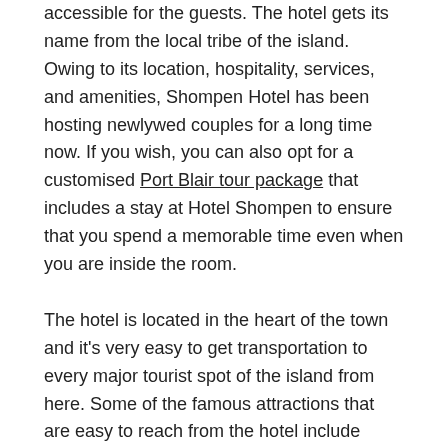accessible for the guests. The hotel gets its name from the local tribe of the island. Owing to its location, hospitality, services, and amenities, Shompen Hotel has been hosting newlywed couples for a long time now. If you wish, you can also opt for a customised Port Blair tour package that includes a stay at Hotel Shompen to ensure that you spend a memorable time even when you are inside the room.
The hotel is located in the heart of the town and it's very easy to get transportation to every major tourist spot of the island from here. Some of the famous attractions that are easy to reach from the hotel include Corbyn's Cove and the Anthropological Museum.
Hotel Facilities